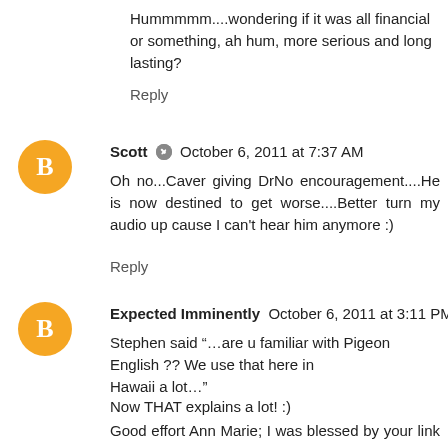Hummmmm....wondering if it was all financial or something, ah hum, more serious and long lasting?
Reply
Scott  October 6, 2011 at 7:37 AM
Oh no...Caver giving DrNo encouragement....He is now destined to get worse....Better turn my audio up cause I can't hear him anymore :)
Reply
Expected Imminently  October 6, 2011 at 3:11 PM
Stephen said “…are u familiar with Pigeon English ?? We use that here in
Hawaii a lot…”
Now THAT explains a lot! :)
Good effort Ann Marie; I was blessed by your link to